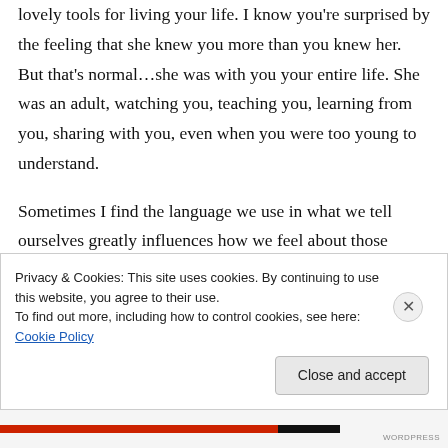lovely tools for living your life. I know you're surprised by the feeling that she knew you more than you knew her. But that's normal…she was with you your entire life. She was an adult, watching you, teaching you, learning from you, sharing with you, even when you were too young to understand.
Sometimes I find the language we use in what we tell ourselves greatly influences how we feel about those things. My son was 36 and well on his way to building a great family life of his own
Privacy & Cookies: This site uses cookies. By continuing to use this website, you agree to their use.
To find out more, including how to control cookies, see here: Cookie Policy